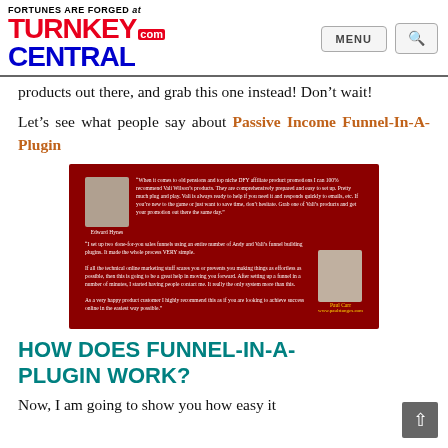FORTUNES ARE FORGED at TURNKEYCENTRAL.com | MENU | Search
products out there, and grab this one instead! Don’t wait!
Let’s see what people say about Passive Income Funnel-In-A-Plugin
[Figure (photo): Dark red testimonial box with two customer testimonials and photos of Edward Hynes and Paul Carr (www.paulstanges.com)]
HOW DOES FUNNEL-IN-A-PLUGIN WORK?
Now, I am going to show you how easy it